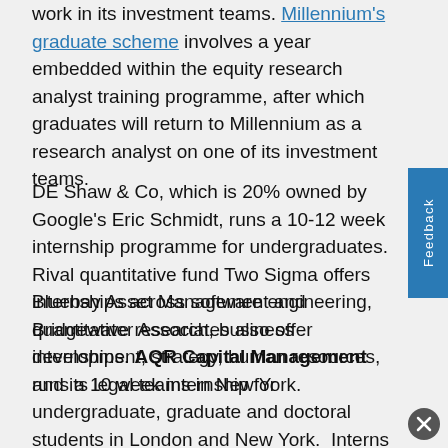work in its investment teams. Millennium's graduate scheme involves a year embedded within the equity research analyst training programme, after which graduates will return to Millennium as a research analyst on one of its investment teams.
DE Shaw & Co, which is 20% owned by Google's Eric Schmidt, runs a 10-12 week internship programme for undergraduates. Rival quantitative fund Two Sigma offers internships across software engineering, quantitative research, business development, strategy, human resources, and its legal teams in New York.
Bluebay Asset Management and Bridgewater Associates also offer internships. AQR Capital Management runs a 10 week internship for undergraduate, graduate and doctoral students in London and New York.  Interns are given a project to work on during the summer and are taught at the fund's Qanta Academy.